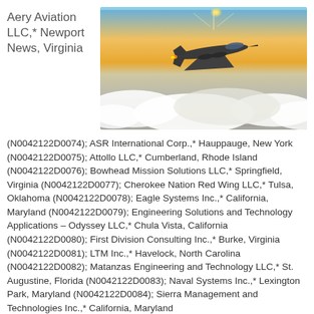Aery Aviation LLC,* Newport News, Virginia
[Figure (photo): Military jet aircraft flying above clouds with sunlight in background]
(N0042122D0074); ASR International Corp.,* Hauppauge, New York (N0042122D0075); Attollo LLC,* Cumberland, Rhode Island (N0042122D0076); Bowhead Mission Solutions LLC,* Springfield, Virginia (N0042122D0077); Cherokee Nation Red Wing LLC,* Tulsa, Oklahoma (N0042122D0078); Eagle Systems Inc.,* California, Maryland (N0042122D0079); Engineering Solutions and Technology Applications – Odyssey LLC,* Chula Vista, California (N0042122D0080); First Division Consulting Inc.,* Burke, Virginia (N0042122D0081); LTM Inc.,* Havelock, North Carolina (N0042122D0082); Matanzas Engineering and Technology LLC,* St. Augustine, Florida (N0042122D0083); Naval Systems Inc.,* Lexington Park, Maryland (N0042122D0084); Sierra Management and Technologies Inc.,* California, Maryland